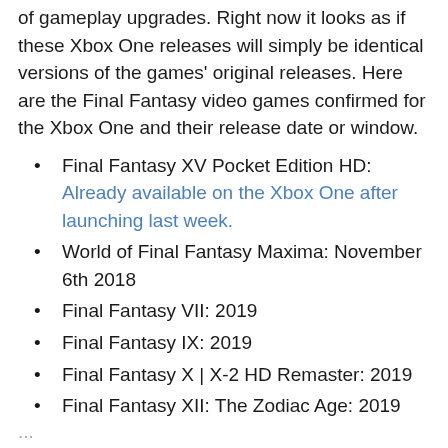of gameplay upgrades. Right now it looks as if these Xbox One releases will simply be identical versions of the games' original releases. Here are the Final Fantasy video games confirmed for the Xbox One and their release date or window.
Final Fantasy XV Pocket Edition HD: Already available on the Xbox One after launching last week.
World of Final Fantasy Maxima: November 6th 2018
Final Fantasy VII: 2019
Final Fantasy IX: 2019
Final Fantasy X | X-2 HD Remaster: 2019
Final Fantasy XII: The Zodiac Age: 2019
...